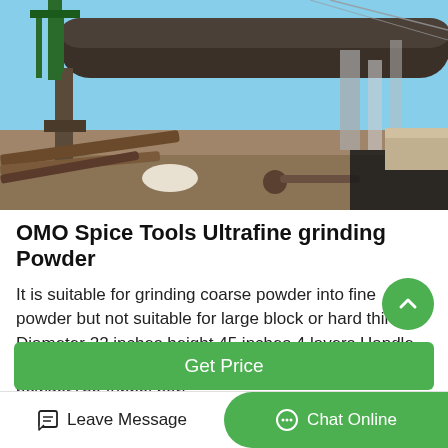[Figure (photo): Industrial heavy equipment - large cylindrical grinding mill or rotary kiln on an outdoor industrial site with construction materials and structures in the background under a clear sky]
OMO Spice Tools Ultrafine grinding Powder
It is suitable for grinding coarse powder into fine powder but not suitable for large block or hard things Diameter 22 inches height 45 inches 4 layers Handle crank ultrafine grinding middle screen filtering fine powderThe funnel part...